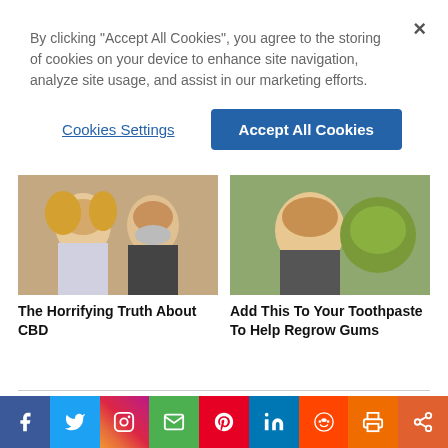By clicking “Accept All Cookies”, you agree to the storing of cookies on your device to enhance site navigation, analyze site usage, and assist in our marketing efforts.
Cookies Settings
Accept All Cookies
[Figure (photo): A woman with curly blonde hair and a man with a grey beard, both smiling]
The Horrifying Truth About CBD
[Figure (photo): A man holding up a large green fruit]
Add This To Your Toothpaste To Help Regrow Gums
Powered by MediaSearch logo
STORIES YOU MIGHT HAVE MISSED